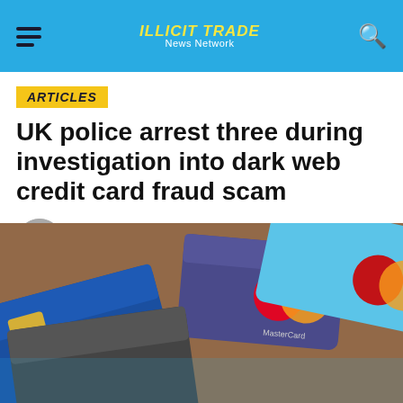ILLICIT TRADE News Network
ARTICLES
UK police arrest three during investigation into dark web credit card fraud scam
Published 4 years ago on 30 November 2018
By Matúš Tóth
[Figure (photo): Close-up photograph of multiple credit cards fanned out on a wooden surface, including Visa Debit cards and MasterCard cards in blue, grey, and purple colors.]